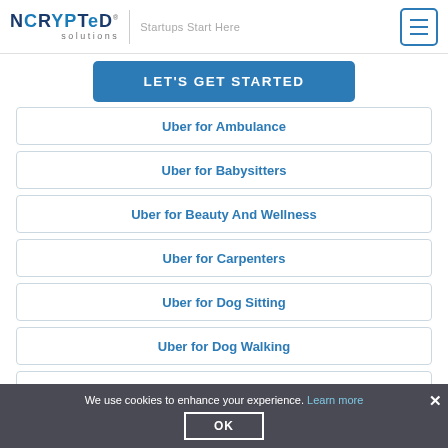[Figure (logo): NCRYPTeD solutions logo with tagline 'Startups Start Here' and hamburger menu icon]
LET'S GET STARTED
Uber for Ambulance
Uber for Babysitters
Uber for Beauty And Wellness
Uber for Carpenters
Uber for Dog Sitting
Uber for Dog Walking
Uber for Flowers
We use cookies to enhance your experience. Learn more
OK